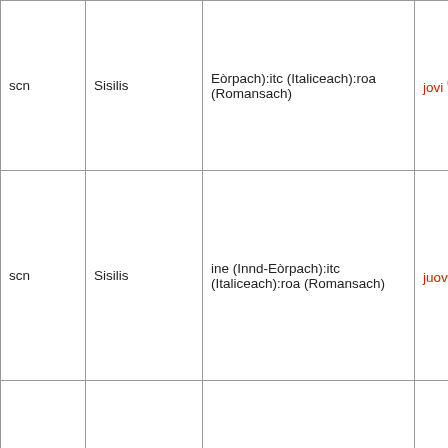| Code | Language | Family | Word |
| --- | --- | --- | --- |
| scn | Sisilis | Eòrpach):itc (Italiceach):roa (Romansach) | jovi (scn) |
| scn | Sisilis | ine (Innd-Eòrpach):itc (Italiceach):roa (Romansach) | juovi (scn |
| scn | Sisilis | ine (Innd-Eòrpach):itc (Italiceach):roa (Romansach) | juvirì (scn |
| sco | Albais | ine (Innd-Eòrpach):gem (Gearmanach):gmw (Gearmanach an Iar) | Thursday |
|  |  | urj (Uralach):fiu |  |